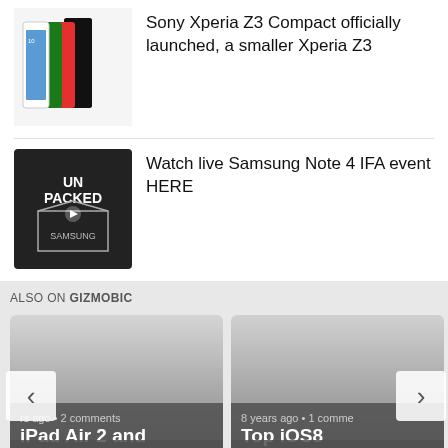[Figure (photo): Sony Xperia Z3 Compact phones in multiple colors]
Sony Xperia Z3 Compact officially launched, a smaller Xperia Z3
[Figure (photo): Samsung Unpacked event logo on dark background]
Watch live Samsung Note 4 IFA event HERE
ALSO ON GIZMOBIC
[Figure (screenshot): Card: iPad Air 2 and iPad Mini 3 confirmed via ... — 8 years ago • 2 comments]
[Figure (screenshot): Card: Top iOS8 keyboards listed here, select ... — 8 years ago • 1 comment]